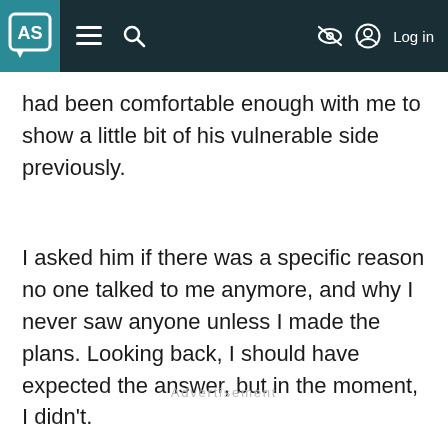AS [logo] ≡ 🔍 [nav icons] Log in
had been comfortable enough with me to show a little bit of his vulnerable side previously.
I asked him if there was a specific reason no one talked to me anymore, and why I never saw anyone unless I made the plans. Looking back, I should have expected the answer, but in the moment, I didn't.
Advertisement